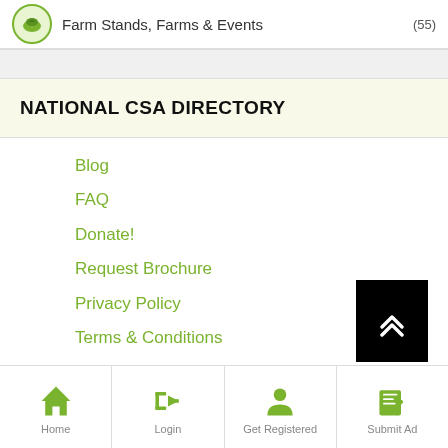Farm Stands, Farms & Events (55)
NATIONAL CSA DIRECTORY
Blog
FAQ
Donate!
Request Brochure
Privacy Policy
Terms & Conditions
Home | Login | Get Registered | Submit Ad